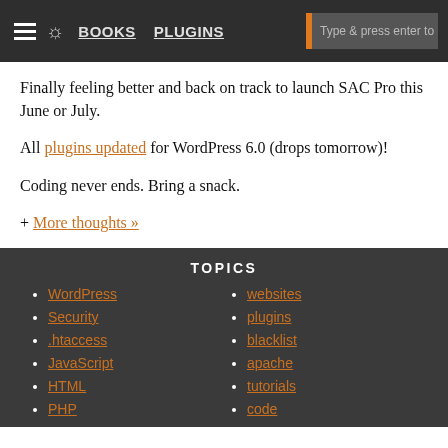BOOKS  PLUGINS  [navigation bar]
Finally feeling better and back on track to launch SAC Pro this June or July.
All plugins updated for WordPress 6.0 (drops tomorrow)!
Coding never ends. Bring a snack.
+ More thoughts »
TOPICS
WordPress
Security
.htaccess
JavaScript
HTML
PHP
websites
plugins
blacklist
apache
tutorials
code